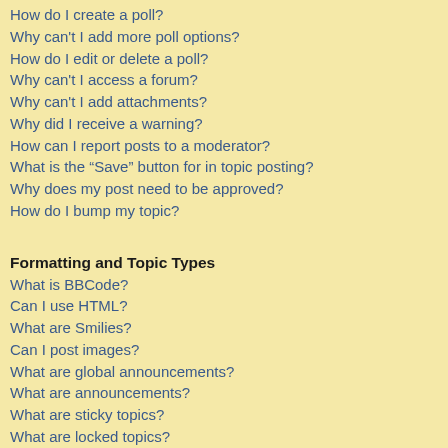How do I create a poll?
Why can't I add more poll options?
How do I edit or delete a poll?
Why can't I access a forum?
Why can't I add attachments?
Why did I receive a warning?
How can I report posts to a moderator?
What is the “Save” button for in topic posting?
Why does my post need to be approved?
How do I bump my topic?
Formatting and Topic Types
What is BBCode?
Can I use HTML?
What are Smilies?
Can I post images?
What are global announcements?
What are announcements?
What are sticky topics?
What are locked topics?
What are topic icons?